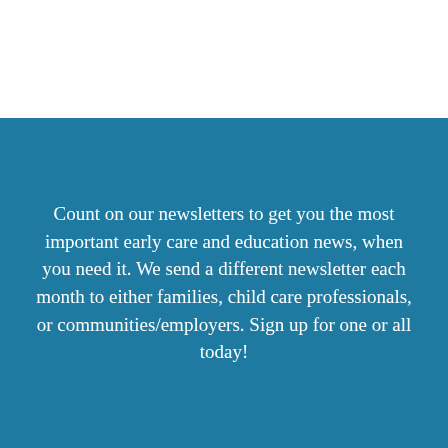Count on our newsletters to get you the most important early care and education news, when you need it. We send a different newsletter each month to either families, child care professionals, or communities/employers. Sign up for one or all today!